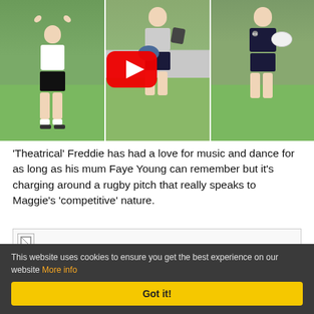[Figure (photo): Three-panel photo strip showing children. Left panel: a child in white t-shirt and black shorts with arms raised. Middle panel: a child in rugby kit holding shoes and a rugby ball, with a YouTube play button overlay. Right panel: a child in dark rugby kit (Canterbury) holding a rugby ball.]
'Theatrical' Freddie has had a love for music and dance for as long as his mum Faye Young can remember but it's charging around a rugby pitch that really speaks to Maggie's 'competitive' nature.
[Figure (photo): Broken/unloaded image placeholder]
This website uses cookies to ensure you get the best experience on our website More info
Got it!